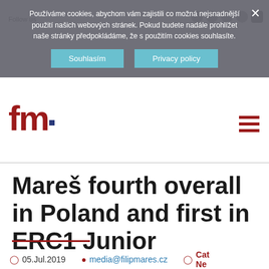[Figure (screenshot): Website header with cookie consent banner overlay on filipmares.cz. The banner reads: Používáme cookies, abychom vám zajistili co možná nejsnadnější použití našich webových stránek. Pokud budete nadále prohlížet naše stránky předpokládáme, že s použitím cookies souhlasíte. Buttons: Souhlasím, Privacy policy. FM logo in red, hamburger menu icon top right.]
Mareš fourth overall in Poland and first in ERC1 Junior
05.Jul.2019   media@filipmares.cz   Cat Ne